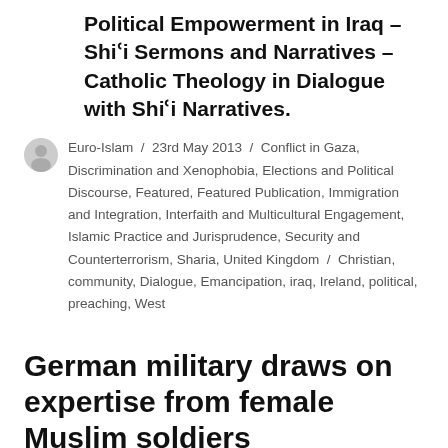Political Empowerment in Iraq – Shi'i Sermons and Narratives – Catholic Theology in Dialogue with Shi'i Narratives.
Euro-Islam / 23rd May 2013 / Conflict in Gaza, Discrimination and Xenophobia, Elections and Political Discourse, Featured, Featured Publication, Immigration and Integration, Interfaith and Multicultural Engagement, Islamic Practice and Jurisprudence, Security and Counterterrorism, Sharia, United Kingdom / Christian, community, Dialogue, Emancipation, iraq, Ireland, political, preaching, West
German military draws on expertise from female Muslim soldiers